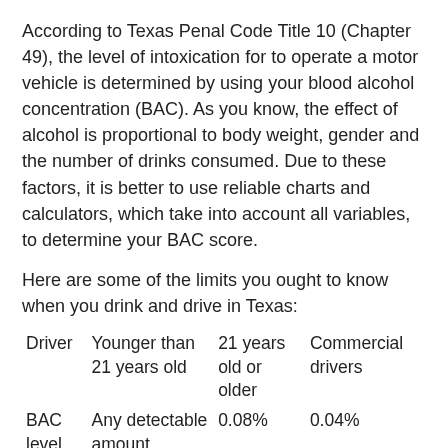According to Texas Penal Code Title 10 (Chapter 49), the level of intoxication for to operate a motor vehicle is determined by using your blood alcohol concentration (BAC). As you know, the effect of alcohol is proportional to body weight, gender and the number of drinks consumed. Due to these factors, it is better to use reliable charts and calculators, which take into account all variables, to determine your BAC score.
Here are some of the limits you ought to know when you drink and drive in Texas:
| Driver | Younger than 21 years old | 21 years old or older | Commercial drivers |
| --- | --- | --- | --- |
| BAC level | Any detectable amount | 0.08% | 0.04% |
However, there are other circumstances that relate to DWI crimes which include: being caught driving,